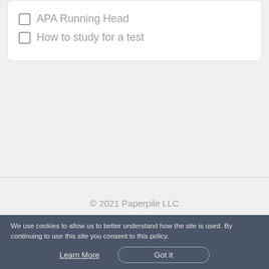APA Running Head
How to study for a test
© 2021 Paperpile LLC
We use cookies to allow us to better understand how the site is used. By continuing to use this site you consent to this policy.
Learn More
Got it